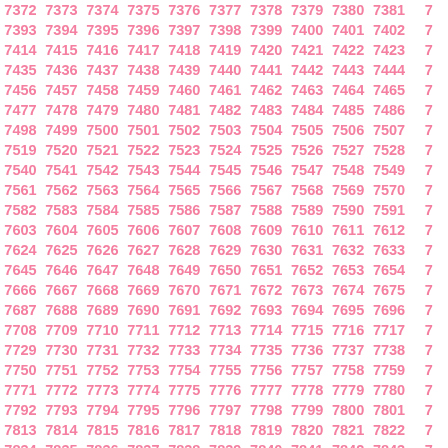| 7372 | 7373 | 7374 | 7375 | 7376 | 7377 | 7378 | 7379 | 7380 | 7381 | ... |
| 7393 | 7394 | 7395 | 7396 | 7397 | 7398 | 7399 | 7400 | 7401 | 7402 | ... |
| 7414 | 7415 | 7416 | 7417 | 7418 | 7419 | 7420 | 7421 | 7422 | 7423 | ... |
| 7435 | 7436 | 7437 | 7438 | 7439 | 7440 | 7441 | 7442 | 7443 | 7444 | ... |
| 7456 | 7457 | 7458 | 7459 | 7460 | 7461 | 7462 | 7463 | 7464 | 7465 | ... |
| 7477 | 7478 | 7479 | 7480 | 7481 | 7482 | 7483 | 7484 | 7485 | 7486 | ... |
| 7498 | 7499 | 7500 | 7501 | 7502 | 7503 | 7504 | 7505 | 7506 | 7507 | ... |
| 7519 | 7520 | 7521 | 7522 | 7523 | 7524 | 7525 | 7526 | 7527 | 7528 | ... |
| 7540 | 7541 | 7542 | 7543 | 7544 | 7545 | 7546 | 7547 | 7548 | 7549 | ... |
| 7561 | 7562 | 7563 | 7564 | 7565 | 7566 | 7567 | 7568 | 7569 | 7570 | ... |
| 7582 | 7583 | 7584 | 7585 | 7586 | 7587 | 7588 | 7589 | 7590 | 7591 | ... |
| 7603 | 7604 | 7605 | 7606 | 7607 | 7608 | 7609 | 7610 | 7611 | 7612 | ... |
| 7624 | 7625 | 7626 | 7627 | 7628 | 7629 | 7630 | 7631 | 7632 | 7633 | ... |
| 7645 | 7646 | 7647 | 7648 | 7649 | 7650 | 7651 | 7652 | 7653 | 7654 | ... |
| 7666 | 7667 | 7668 | 7669 | 7670 | 7671 | 7672 | 7673 | 7674 | 7675 | ... |
| 7687 | 7688 | 7689 | 7690 | 7691 | 7692 | 7693 | 7694 | 7695 | 7696 | ... |
| 7708 | 7709 | 7710 | 7711 | 7712 | 7713 | 7714 | 7715 | 7716 | 7717 | ... |
| 7729 | 7730 | 7731 | 7732 | 7733 | 7734 | 7735 | 7736 | 7737 | 7738 | ... |
| 7750 | 7751 | 7752 | 7753 | 7754 | 7755 | 7756 | 7757 | 7758 | 7759 | ... |
| 7771 | 7772 | 7773 | 7774 | 7775 | 7776 | 7777 | 7778 | 7779 | 7780 | ... |
| 7792 | 7793 | 7794 | 7795 | 7796 | 7797 | 7798 | 7799 | 7800 | 7801 | ... |
| 7813 | 7814 | 7815 | 7816 | 7817 | 7818 | 7819 | 7820 | 7821 | 7822 | ... |
| 7834 | 7835 | 7836 | 7837 | 7838 | 7839 | 7840 | 7841 | 7842 | 7843 | ... |
| 7855 | 7856 | 7857 | 7858 | 7859 | 7860 | 7861 | 7862 | 7863 | 7864 | ... |
| 7876 | 7877 | 7878 | 7879 | 7880 | 7881 | 7882 | 7883 | 7884 | 7885 | ... |
| 7897 | 7898 | 7899 | 7900 | 7901 | 7902 | 7903 | 7904 | 7905 | 7906 | ... |